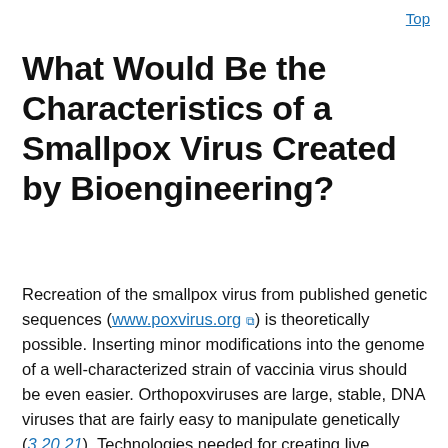Top
What Would Be the Characteristics of a Smallpox Virus Created by Bioengineering?
Recreation of the smallpox virus from published genetic sequences (www.poxvirus.org) is theoretically possible. Inserting minor modifications into the genome of a well-characterized strain of vaccinia virus should be even easier. Orthopoxviruses are large, stable, DNA viruses that are fairly easy to manipulate genetically (3,20,21). Technologies needed for creating live poxviruses from a variety of genetic fragments are readily available (3,20). Some